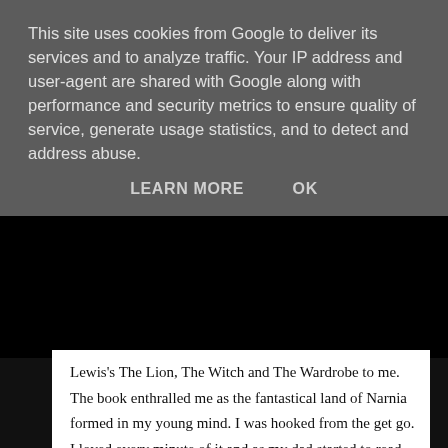This site uses cookies from Google to deliver its services and to analyze traffic. Your IP address and user-agent are shared with Google along with performance and security metrics to ensure quality of service, generate usage statistics, and to detect and address abuse.
LEARN MORE   OK
Lewis's The Lion, The Witch and The Wardrobe to me. The book enthralled me as the fantastical land of Narnia formed in my young mind. I was hooked from the get go. I loved every minute of it and as my dad started to read more and more of it each night (he wanted to get to a certain part of the book so that I wouldn't cry when we saw the film in the cinema) I was certainly not one to complain.
As a child I adored the idea of talking animals that could laugh and talk as if they too were human; the centaurs and talking lions and beavers amazed me and I honestly wanted Mr. Tumnus as my best friend.